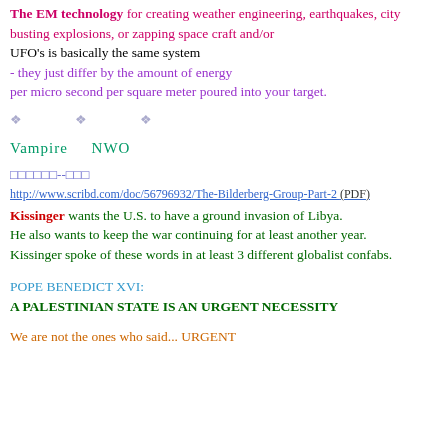The EM technology for creating weather engineering, earthquakes, city busting explosions, or zapping space craft and/or UFO's is basically the same system - they just differ by the amount of energy per micro second per square meter poured into your target.
❖  ❖  ❖
Vampire     NWO
□□□□□□--□□□
http://www.scribd.com/doc/56796932/The-Bilderberg-Group-Part-2 (PDF)
Kissinger wants the U.S. to have a ground invasion of Libya. He also wants to keep the war continuing for at least another year. Kissinger spoke of these words in at least 3 different globalist confabs.
POPE BENEDICT XVI: A PALESTINIAN STATE IS AN URGENT NECESSITY
We are not the ones who said... URGENT